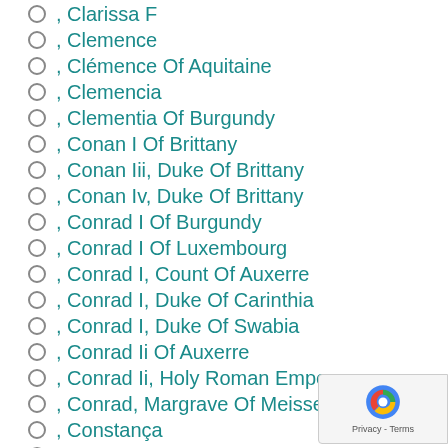, Clarissa F
, Clemence
, Clémence Of Aquitaine
, Clemencia
, Clementia Of Burgundy
, Conan I Of Brittany
, Conan Iii, Duke Of Brittany
, Conan Iv, Duke Of Brittany
, Conrad I Of Burgundy
, Conrad I Of Luxembourg
, Conrad I, Count Of Auxerre
, Conrad I, Duke Of Carinthia
, Conrad I, Duke Of Swabia
, Conrad Ii Of Auxerre
, Conrad Ii, Holy Roman Emperor
, Conrad, Margrave Of Meissen
, Constança
, Constance